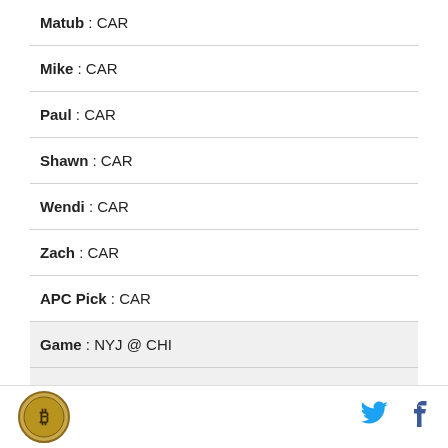Matub : CAR
Mike : CAR
Paul : CAR
Shawn : CAR
Wendi : CAR
Zach : CAR
APC Pick : CAR
Game : NYJ @ CHI
Tex : CHI
Jason : CHI
Peter : CHI
logo | twitter | facebook